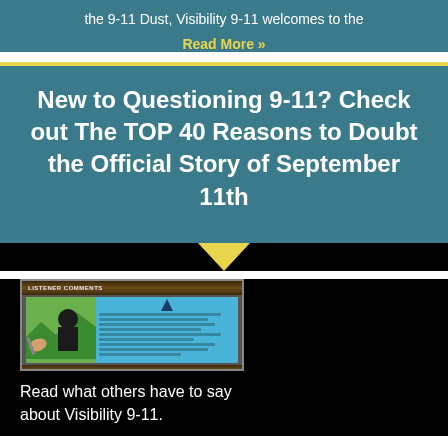the 9-11 Dust, Visibility 9-11 welcomes to the
Read More »
New to Questioning 9-11? Check out The TOP 40 Reasons to Doubt the Official Story of September 11th
[Figure (screenshot): Thumbnail image of a 'Listener Comments' page from Visibility 9-11 website showing a person and some text]
Read what others have to say about Visibility 9-11.